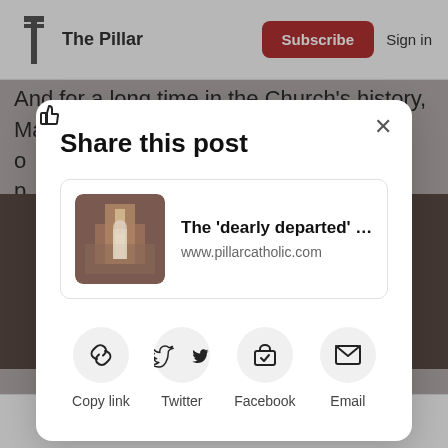The Pillar  Subscribe  Sign in
And for a long time in the Church’s history, Mass o… p…
Share this post
[Figure (screenshot): Link preview card showing a church interior photo with title 'The ‘dearly departed’ …' and URL www.pillarcatholic.com]
Copy link
Twitter
Facebook
Email
11  4